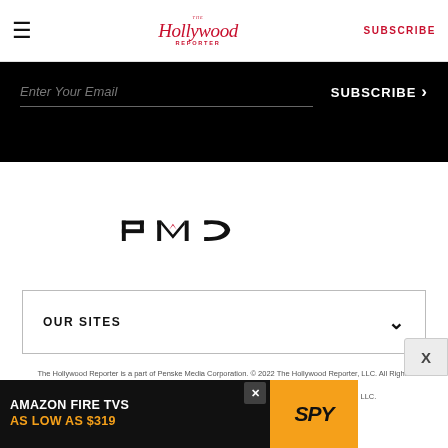The Hollywood Reporter | SUBSCRIBE
[Figure (screenshot): Black email subscription bar with 'Enter Your Email' placeholder and 'SUBSCRIBE >' button in white text]
[Figure (logo): PMC (Penske Media Corporation) logo in black with red accent mark on the M]
OUR SITES
The Hollywood Reporter is a part of Penske Media Corporation. © 2022 The Hollywood Reporter, LLC. All Rights Reserved.
THE HOLLYWOOD REPORTER is a registered trademark of The Hollywood Reporter, LLC.
Powered by WordPress.com VIP
[Figure (screenshot): Advertisement banner: AMAZON FIRE TVS AS LOW AS $319 with SPY logo on yellow background]